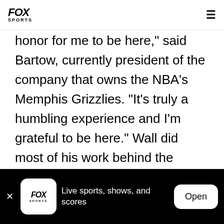FOX SPORTS
honor for me to be here," said Bartow, currently president of the company that owns the NBA's Memphis Grizzlies. "It's truly a humbling experience and I'm grateful to be here." Wall did most of his work behind the scenes. He was executive director of National Association of Basketball Coaches and later had the same title at the organization that became USA Basketball. Hall was driving force behind USA's basketball success at the Olympics and other international competitions, including the 1992 Dream
FOX SPORTS — Live sports, shows, and scores — Open